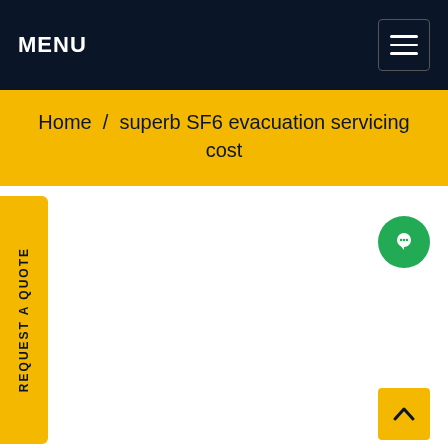MENU
Home / superb SF6 evacuation servicing cost
REQUEST A QUOTE
[Figure (illustration): Green circular chat/message button icon]
[Figure (illustration): Yellow back-to-top arrow button]